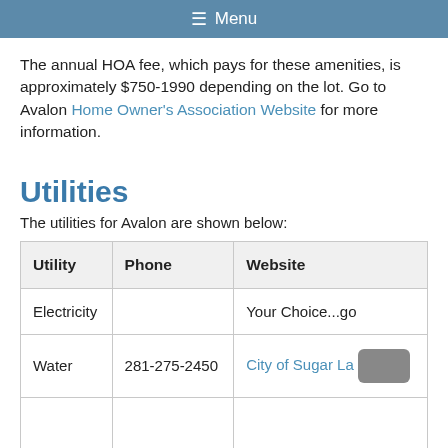Menu
The annual HOA fee, which pays for these amenities, is approximately $750-1990 depending on the lot. Go to Avalon Home Owner's Association Website for more information.
Utilities
The utilities for Avalon are shown below:
| Utility | Phone | Website |
| --- | --- | --- |
| Electricity |  | Your Choice...go |
| Water | 281-275-2450 | City of Sugar La... |
|  |  |  |